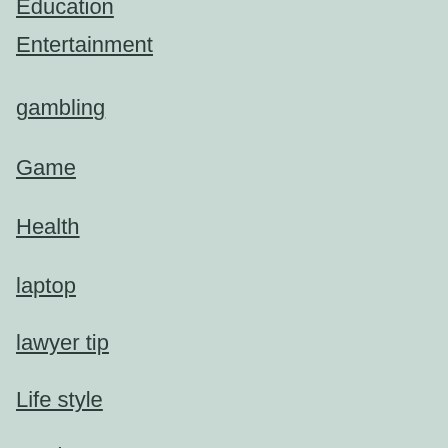Education
Entertainment
gambling
Game
Health
laptop
lawyer tip
Life style
services
SOCIAL MEDIA
Tech
Uncategorized
togel singapore